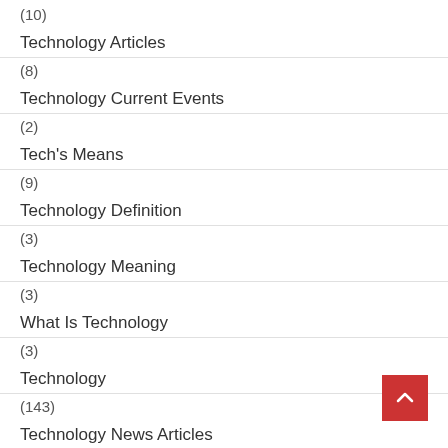Technology Articles (10)
Technology Current Events (8)
Tech's Means (2)
Technology Definition (9)
Technology Meaning (3)
What Is Technology (3)
Technology (3)
Technology (143)
Technology News Articles (5)